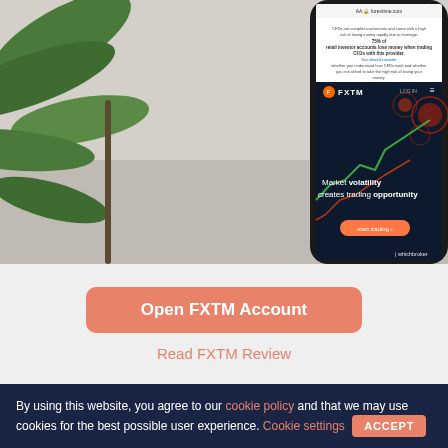[Figure (photo): Smartphone displaying FXTM (ForexTime) broker website with 'Market volatility creates trading opportunity' tagline, surrounded by plant leaves. The screen shows a risk warning about CFDs and the FXTM homepage. WhichBroker watermark visible in bottom right.]
Open FXTM Account
Read FXTM Review
By using this website, you agree to our cookie policy and that we may use cookies for the best possible user experience. Cookie settings ACCEPT